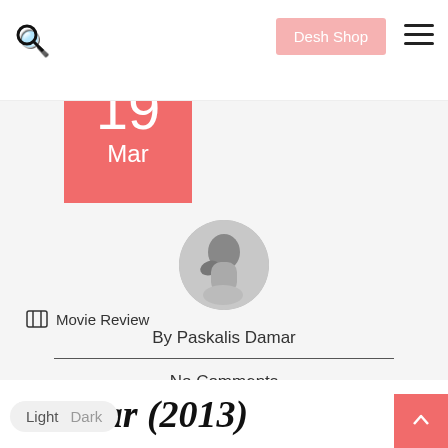Search | Desh Shop | Navigation menu
[Figure (other): Red date badge showing 19 Mar with year 2013 overlapping]
[Figure (photo): Circular avatar photo of author Paskalis Damar, grayscale portrait]
By Paskalis Damar
No Comments
Movie Review
In Fear (2013)
Light Dark